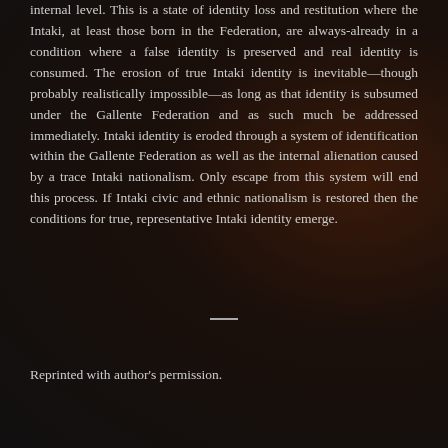internal level. This is a state of identity loss and restitution where the Intaki, at least those born in the Federation, are always-already in a condition where a false identity is preserved and real identity is consumed. The erosion of true Intaki identity is inevitable—though probably realistically impossible—as long as that identity is subsumed under the Gallente Federation and as such much be addressed immediately. Intaki identity is eroded through a system of identification within the Gallente Federation as well as the internal alienation caused by a trace Intaki nationalism. Only escape from this system will end this process. If Intaki civic and ethnic nationalism is restored then the conditions for true, representative Intaki identity emerge.
Reprinted with author's permission.